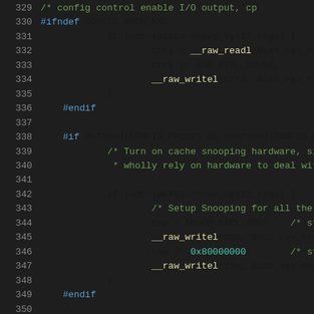[Figure (screenshot): Source code listing (C language) showing lines 329-350 of a USB device controller driver, with syntax highlighting. Lines include preprocessor directives, conditional compilation blocks, raw register read/write operations, and cache snooping hardware setup.]